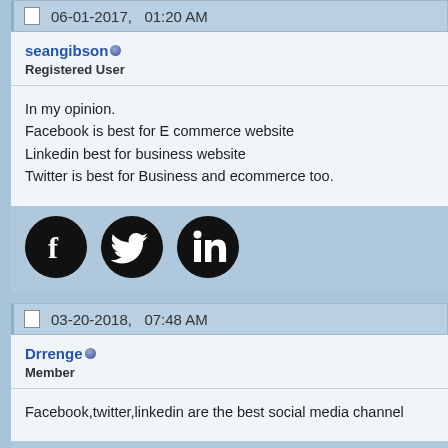06-01-2017,   01:20 AM
seangibson
Registered User
In my opinion.
Facebook is best for E commerce website
Linkedin best for business website
Twitter is best for Business and ecommerce too.
[Figure (illustration): Three social media icons: Facebook (f), Twitter (bird), LinkedIn (in) as black circles with white logos]
03-20-2018,   07:48 AM
Drrenge
Member
Facebook,twitter,linkedin are the best social media channel
[Figure (illustration): Three social media icons: Facebook (f), Twitter (bird), LinkedIn (in) as black circles with white logos]